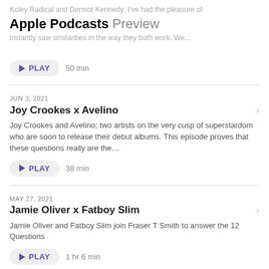Apple Podcasts Preview
Koley Radical and Dermot Kennedy: I've had the pleasure of … already in the studio and instantly saw similarities in the way they both work. We…
▶ PLAY  50 min
JUN 3, 2021
Joy Crookes x Avelino
Joy Crookes and Avelino; two artists on the very cusp of superstardom who are soon to release their debut albums. This episode proves that these questions really are the…
▶ PLAY  38 min
MAY 27, 2021
Jamie Oliver x Fatboy Slim
Jamie Oliver and Fatboy Slim join Fraser T Smith to answer the 12 Questions
▶ PLAY  1 hr 6 min
Show 7 More Episodes